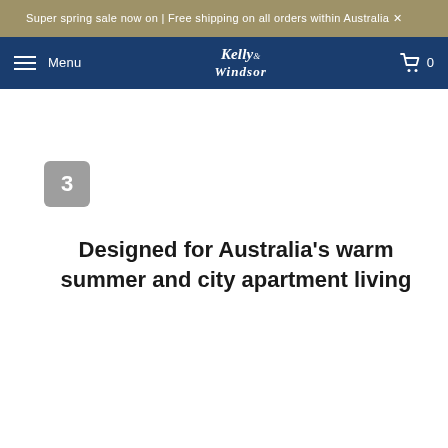Super spring sale now on | Free shipping on all orders within Australia
Menu | Kelly & Windsor | 0
[Figure (other): Step 3 badge - grey rounded square with number 3]
Designed for Australia's warm summer and city apartment living